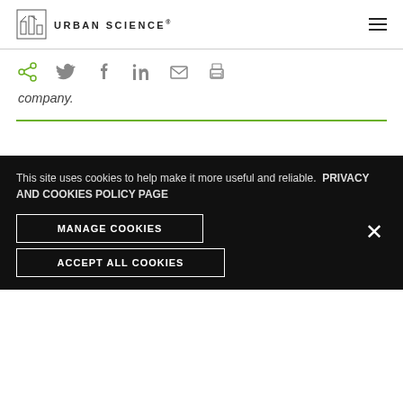URBAN SCIENCE
[Figure (infographic): Social share icons row: share (green), Twitter, Facebook, LinkedIn, email, print]
Company.
This site uses cookies to help make it more useful and reliable. PRIVACY AND COOKIES POLICY PAGE
MANAGE COOKIES
ACCEPT ALL COOKIES